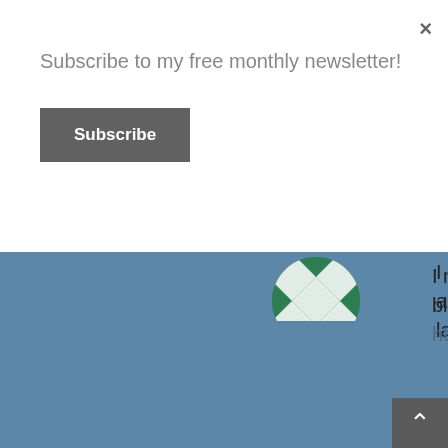Subscribe to my free monthly newsletter!
Subscribe
×
[Figure (illustration): Green and white checkered circular avatar/logo, partially visible at top of blue background section]
I mean every word... This poem from another blogger has helped me a lot lately https://wp.me/pbq8J1-Jy
The main lesson God has been teaching me lately – the biggest lesson – is that he's got me. No matter what. And no matter whats happened to me or how I feel... He can use it. Whether I mess up or others mess up